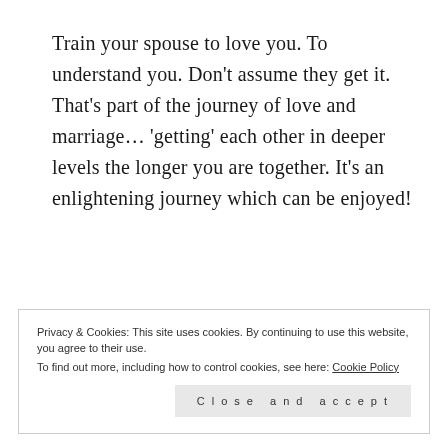Train your spouse to love you. To understand you. Don't assume they get it. That's part of the journey of love and marriage… 'getting' each other in deeper levels the longer you are together. It's an enlightening journey which can be enjoyed!
Privacy & Cookies: This site uses cookies. By continuing to use this website, you agree to their use. To find out more, including how to control cookies, see here: Cookie Policy